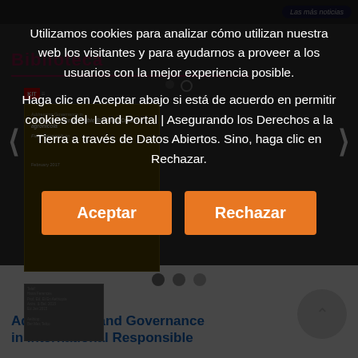Utilizamos cookies para analizar cómo utilizan nuestra web los visitantes y para ayudarnos a proveer a los usuarios con la mejor experiencia posible. Haga clic en Aceptar abajo si está de acuerdo en permitir cookies del Land Portal | Asegurando los Derechos a la Tierra a través de Datos Abiertos. Sino, haga clic en Rechazar.
Aceptar
Rechazar
Addressing Land Governance in International Responsible